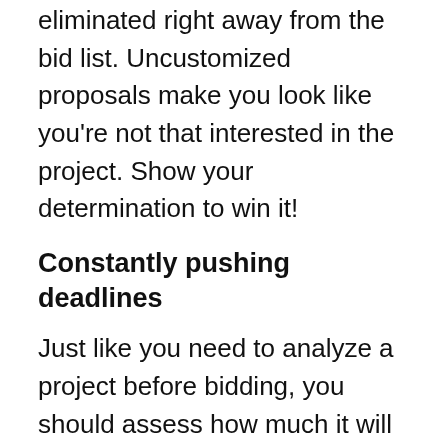eliminated right away from the bid list. Uncustomized proposals make you look like you're not that interested in the project. Show your determination to win it!
Constantly pushing deadlines
Just like you need to analyze a project before bidding, you should assess how much it will really take before committing to a deadline. If you win the project and you're not able to estimate the timeline correctly, pushing deadlines, later on, will cause bad reviews and negative feedback from your employer.
Changing the quote once the project